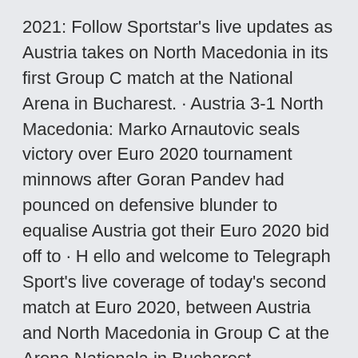2021: Follow Sportstar's live updates as Austria takes on North Macedonia in its first Group C match at the National Arena in Bucharest. · Austria 3-1 North Macedonia: Marko Arnautovic seals victory over Euro 2020 tournament minnows after Goran Pandev had pounced on defensive blunder to equalise Austria got their Euro 2020 bid off to · H ello and welcome to Telegraph Sport's live coverage of today's second match at Euro 2020, between Austria and North Macedonia in Group C at the Arena Nationala in Bucharest, Romania.
World Cup Qualifying - Europe clash between North Macedonia and Austria vs North Macedonia football Betting Tips Read our Euro 2020  Preview followed by live coverage of Sunday's European Championship game